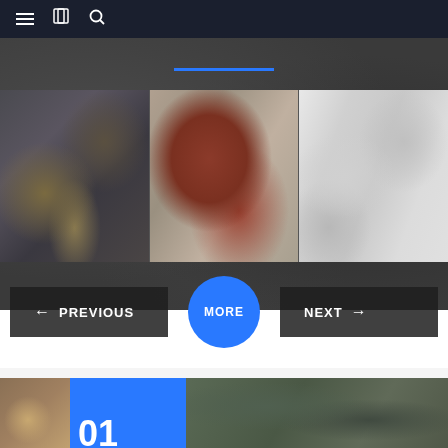Navigation bar with menu, book, and search icons
[Figure (photo): Gallery row of three rock/stone texture photographs: dark fractured rock with golden tones (left), grey limestone with rust-red veining cracks (center), white marble with grey veining pattern (right)]
PREVIOUS
MORE
NEXT
[Figure (photo): Bottom strip showing partial interior photo on left, blue box with large number '01', and green marble/stone texture photo on right]